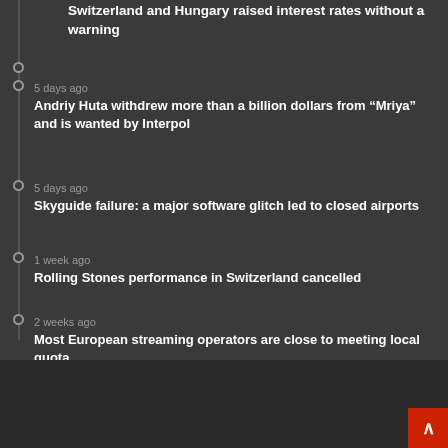Switzerland and Hungary raised interest rates without a warning
5 days ago
Andriy Huta withdrew more than a billion dollars from “Mriya” and is wanted by Interpol
5 days ago
Skyguide failure: a major software glitch led to closed airports
1 week ago
Rolling Stones performance in Switzerland cancelled
2 weeks ago
Most European streaming operators are close to meeting local quota